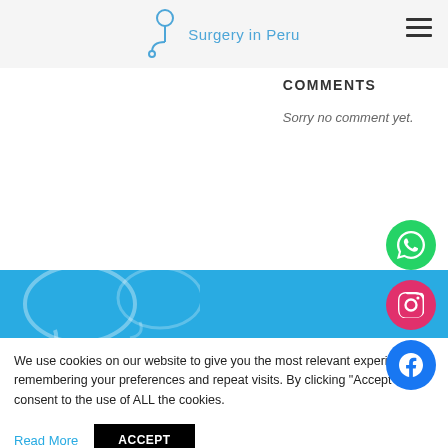Surgery in Peru
COMMENTS
Sorry no comment yet.
[Figure (illustration): Blue banner with chat bubble icons in outline style]
We use cookies on our website to give you the most relevant experience by remembering your preferences and repeat visits. By clicking “Accept”, you consent to the use of ALL the cookies.
Read More   ACCEPT